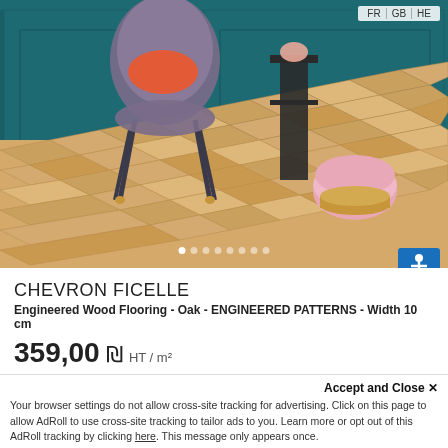[Figure (photo): Room scene with chevron oak engineered wood flooring in light tan/beige color, with a teal/dark blue wall, a grey velvet chair with orange cushion, and a pink ottomon with gold base. Language navigation (FR | GB | HE) visible top right. Slider dots visible at bottom of image.]
CHEVRON FICELLE
Engineered Wood Flooring - Oak - ENGINEERED PATTERNS - Width 10 cm
359,00 ₪ HT / m²
Accept and Close ✕
Your browser settings do not allow cross-site tracking for advertising. Click on this page to allow AdRoll to use cross-site tracking to tailor ads to you. Learn more or opt out of this AdRoll tracking by clicking here. This message only appears once.